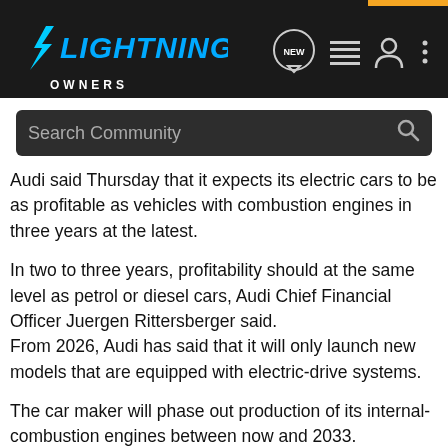LIGHTNING OWNERS
Audi said Thursday that it expects its electric cars to be as profitable as vehicles with combustion engines in three years at the latest.
In two to three years, profitability should at the same level as petrol or diesel cars, Audi Chief Financial Officer Juergen Rittersberger said.
From 2026, Audi has said that it will only launch new models that are equipped with electric-drive systems.
The car maker will phase out production of its internal-combustion engines between now and 2033.
However, the Chinese market will be an exception and Audi wants to keep an open mind here in view of customer demand